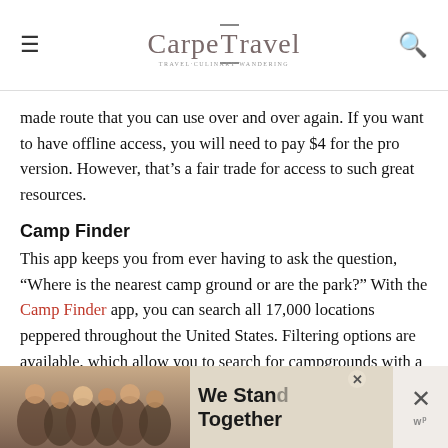CarpeTravel
made route that you can use over and over again. If you want to have offline access, you will need to pay $4 for the pro version. However, that’s a fair trade for access to such great resources.
Camp Finder
This app keeps you from ever having to ask the question, “Where is the nearest camp ground or are the park?” With the Camp Finder app, you can search all 17,000 locations peppered throughout the United States. Filtering options are available, which allow you to search for campgrounds with a certain type of amenity, discount, policy or activity that you are looking for. The best part? This app integrates with Google M...
[Figure (photo): Advertisement banner showing people with arms around each other, text reads We Stand Together]